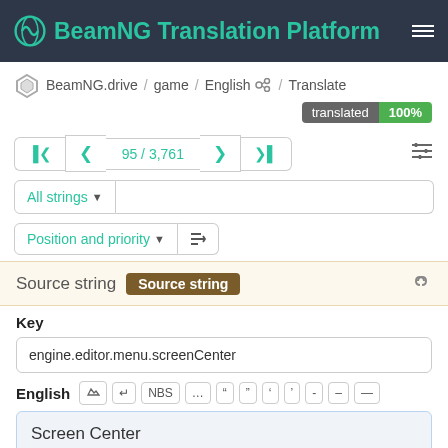BeamNG Translation Platform
BeamNG.drive / game / English / Translate
translated 100%
95 / 3,761
All strings
Position and priority
Source string Source string
Key
engine.editor.menu.screenCenter
English
Screen Center